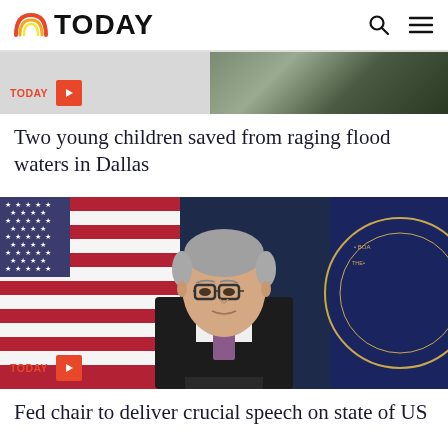TODAY
[Figure (photo): Partial photo of two children being saved from flood waters, with a red play button overlay and TODAY tag label]
Two young children saved from raging flood waters in Dallas
[Figure (photo): Photo of Federal Reserve Chair Jerome Powell speaking in front of American flags and a Federal Reserve Board seal, with a red play button overlay and TODAY tag label]
Fed chair to deliver crucial speech on state of US